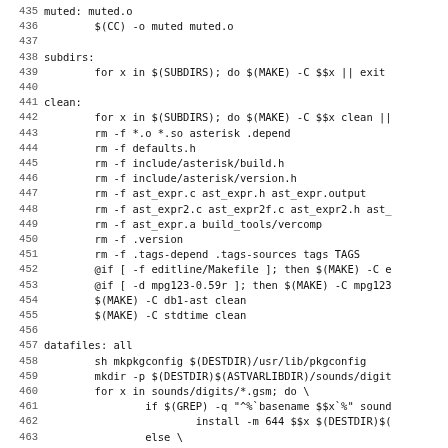Code listing lines 435-466, Makefile content
435 muted: muted.o
436         $(CC) -o muted muted.o
437
438 subdirs:
439         for x in $(SUBDIRS); do $(MAKE) -C $$x || exit
440
441 clean:
442         for x in $(SUBDIRS); do $(MAKE) -C $$x clean ||
443         rm -f *.o *.so asterisk .depend
444         rm -f defaults.h
445         rm -f include/asterisk/build.h
446         rm -f include/asterisk/version.h
447         rm -f ast_expr.c ast_expr.h ast_expr.output
448         rm -f ast_expr2.c ast_expr2f.c ast_expr2.h ast_
449         rm -f ast_expr.a build_tools/vercomp
450         rm -f .version
451         rm -f .tags-depend .tags-sources tags TAGS
452         @if [ -f editline/Makefile ]; then $(MAKE) -C e
453         @if [ -d mpg123-0.59r ]; then $(MAKE) -C mpg123
454         $(MAKE) -C db1-ast clean
455         $(MAKE) -C stdtime clean
456
457 datafiles: all
458         sh mkpkgconfig $(DESTDIR)/usr/lib/pkgconfig
459         mkdir -p $(DESTDIR)$(ASTVARLIBDIR)/sounds/digit
460         for x in sounds/digits/*.gsm; do \
461                 if $(GREP) -q "^%`basename $$x`%" sound
462                         install -m 644 $$x $(DESTDIR)$(
463                 else \
464                         echo "No description for $$x";
465                         exit 1; \
466         fi; \